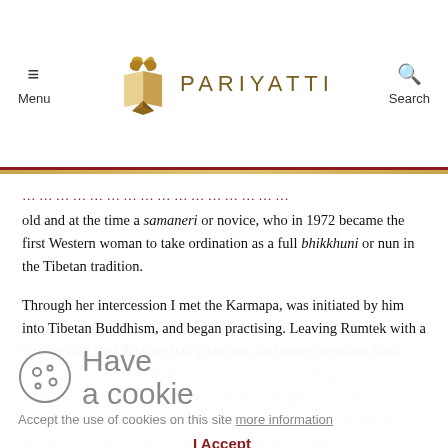Menu | PARIYATTI | Search
old and at the time a samaneri or novice, who in 1972 became the first Western woman to take ordination as a full bhikkhuni or nun in the Tibetan tradition.
Through her intercession I met the Karmapa, was initiated by him into Tibetan Buddhism, and began practising. Leaving Rumtek with a sizable clay Buddha they had given me, and more questions than answers, I headed for Kalimpong seeking … confirmation, I suppose, from the Dodjum Rimpoche, head of the Nyingmapa … married, and more extroverted, he seemed less otherworldly to an itinerant hippy and hence easier to approach … one-one in his cottage.
Some days later, in pelting rain, I arrived by bus in Ghoom, a small
Accept the use of cookies on this site more information
I Accept